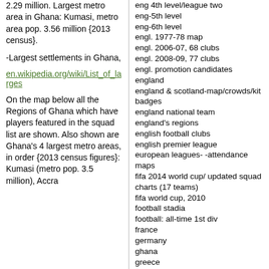2.29 million. Largest metro area in Ghana: Kumasi, metro area pop. 3.56 million {2013 census}.
-Largest settlements in Ghana,
en.wikipedia.org/wiki/List_of_larges
On the map below all the Regions of Ghana which have players featured in the squad list are shown. Also shown are Ghana's 4 largest metro areas, in order {2013 census figures}: Kumasi (metro pop. 3.5 million), Accra
eng 4th level/league two
eng-5th level
eng-6th level
engl. 1977-78 map
engl. 2006-07, 68 clubs
engl. 2008-09, 77 clubs
engl. promotion candidates
england
england & scotland-map/crowds/kit badges
england national team
england's regions
english football clubs
english premier league
european leagues- -attendance maps
fifa 2014 world cup/ updated squad charts (17 teams)
fifa world cup, 2010
football stadia
football: all-time 1st div
france
germany
ghana
greece
hand drawn maps
hockey
hockey, nhl re-alignment
hockey-nhl and expansion
hockey-nhl, pre-realignm't
hockey-wha
honduras
hungary